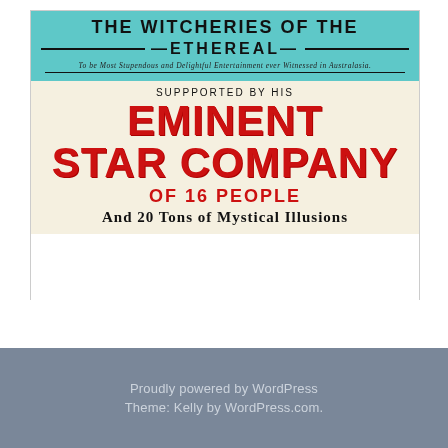[Figure (illustration): Vintage theatrical poster with teal top section reading 'THE WITCHERIES OF THE —ETHEREAL—' with italic subtitle, and cream bottom section reading 'SUPPPORTED BY HIS EMINENT STAR COMPANY OF 16 PEOPLE And 20 Tons of Mystical Illusions' in large red and black text.]
Proudly powered by WordPress
Theme: Kelly by WordPress.com.